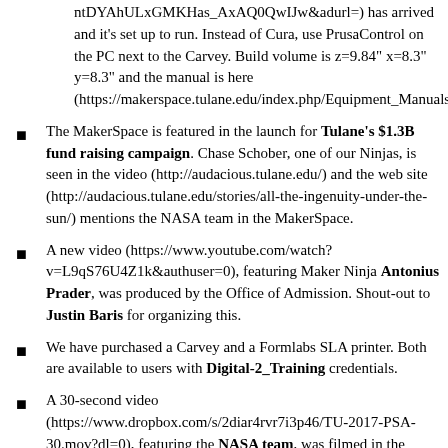ntDYAhULxGMKHas_AxAQ0QwIJw&adurl=) has arrived and it's set up to run. Instead of Cura, use PrusaControl on the PC next to the Carvey. Build volume is z=9.84" x=8.3" y=8.3" and the manual is here (https://makerspace.tulane.edu/index.php/Equipment_Manuals#3d_Printers)
The MakerSpace is featured in the launch for Tulane's $1.3B fund raising campaign. Chase Schober, one of our Ninjas, is seen in the video (http://audacious.tulane.edu/) and the web site (http://audacious.tulane.edu/stories/all-the-ingenuity-under-the-sun/) mentions the NASA team in the MakerSpace.
A new video (https://www.youtube.com/watch?v=L9qS76U4Z1k&authuser=0), featuring Maker Ninja Antonius Prader, was produced by the Office of Admission. Shout-out to Justin Baris for organizing this.
We have purchased a Carvey and a Formlabs SLA printer. Both are available to users with Digital-2_Training credentials.
A 30-second video (https://www.dropbox.com/s/2diar4rvr7i3p46/TU-2017-PSA-30.mov?dl=0), featuring the NASA team, was filmed in the MakerSpace.
The Tulane MakerSpace was recently featured as part of a tour for the Board of Tulane. The tour was well-received and many